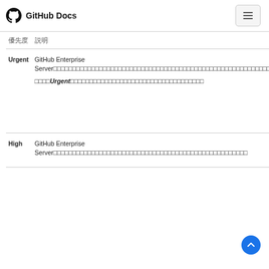GitHub Docs
| 優先度 | 説明 | 含まれるもの |
| --- | --- | --- |
| Urgent | GitHub Enterprise Server□□□□□□□□□□□□□□□□□□□□□□□□□□□□□□□□□ □□□□Urgent□□□□□□□□□□□□□□□□□□□□□□□□□□ | □□□□□□□□□□□□□□□Git□□□Web□□□□□□□□□□□□□□□□□□□□□□□□□□ / □□□□□□□□□□□□□□□□□□□□□□□ / □□□□□□□□□□□□□□□□□□□□□□ / □□□□□□□□□□□□□□□□□□□□□□ / □□□□□□□□□□ / □□□□□□□□□□□□□□□□□□□□□□ / □□□□□□□□□□□□□□□□□□□□□□□ |
| High | GitHub Enterprise Server□□□□□□□□□□□□□□□□□□□□□□□□□□□□□□ | □□□□□□□□□□□□□□□□□□□□□□□□□ / High Availability (HA)□□□□□□□□□□□□□□□□□□□ |